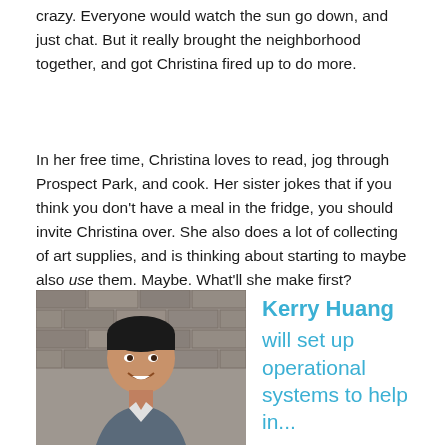crazy. Everyone would watch the sun go down, and just chat. But it really brought the neighborhood together, and got Christina fired up to do more.
In her free time, Christina loves to read, jog through Prospect Park, and cook. Her sister jokes that if you think you don't have a meal in the fridge, you should invite Christina over. She also does a lot of collecting of art supplies, and is thinking about starting to maybe also use them. Maybe. What'll she make first? Probably a mess, she says.
[Figure (photo): Headshot of Kerry Huang, an Asian man smiling, against a brick wall background]
Kerry Huang will set up operational systems to help in...